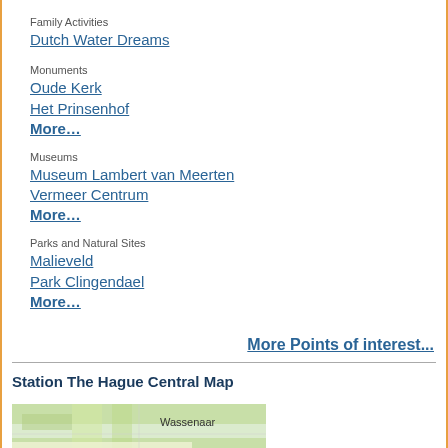Family Activities
Dutch Water Dreams
Monuments
Oude Kerk
Het Prinsenhof
More…
Museums
Museum Lambert van Meerten
Vermeer Centrum
More…
Parks and Natural Sites
Malieveld
Park Clingendael
More…
More Points of interest...
Station The Hague Central Map
[Figure (map): Map showing the area around Station The Hague Central, with Wassenaar label visible]